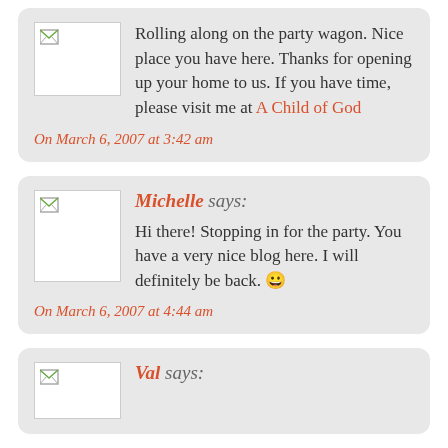Rolling along on the party wagon. Nice place you have here. Thanks for opening up your home to us. If you have time, please visit me at A Child of God
On March 6, 2007 at 3:42 am
Michelle says:
Hi there! Stopping in for the party. You have a very nice blog here. I will definitely be back. 😀
On March 6, 2007 at 4:44 am
Val says: